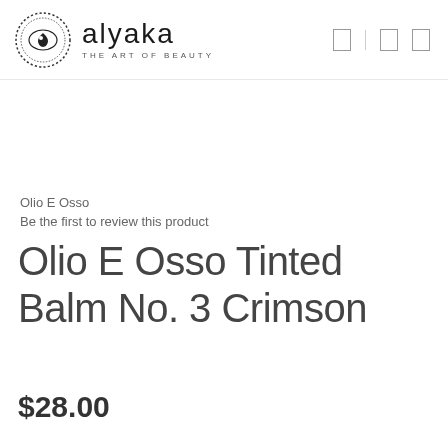[Figure (logo): Alyaka brand logo with circular eye/drop icon and text 'alyaka THE ART OF BEAUTY']
Olio E Osso
Be the first to review this product
Olio E Osso Tinted Balm No. 3 Crimson
$28.00